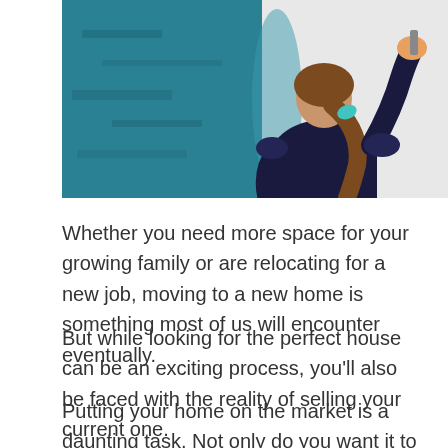[Figure (photo): A woman with long brown hair in a ponytail, wearing a dark navy top, painting a wall. She is seen from behind, with teal/blue paint on the left side of the wall and white on the right. She wears a turquoise hair accessory.]
Whether you need more space for your growing family or are relocating for a new job, moving to a new home is something most of us will encounter eventually.
But while looking for the perfect house can be an exciting process, you'll also be faced with the reality of selling your current one.
Putting your home on the market is a daunting task. Not only do you want it to sell quickly, but you also want to get the most out of your investment. After all,